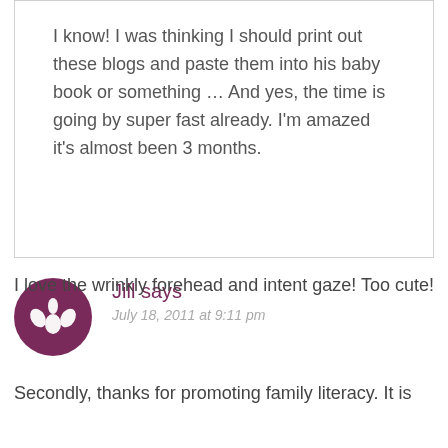I know! I was thinking I should print out these blogs and paste them into his baby book or something … And yes, the time is going by super fast already. I'm amazed it's almost been 3 months.
Jill says
July 18, 2011 at 9:11 pm
I love the wrinkly forehead and intent gaze! Too cute!
Secondly, thanks for promoting family literacy. It is